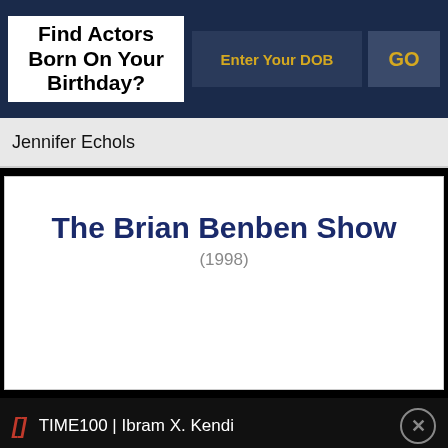Find Actors Born On Your Birthday?
Enter Your DOB
GO
Jennifer Echols
The Brian Benben Show
(1998)
TIME100 | Ibram X. Kendi